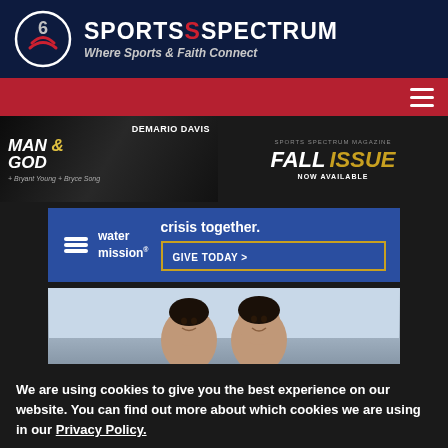SPORTS SPECTRUM - Where Sports & Faith Connect
[Figure (screenshot): Sports Spectrum website screenshot with logo, navigation, Man of God banner ad, Water Mission advertisement, and children photo]
We are using cookies to give you the best experience on our website. You can find out more about which cookies we are using in our Privacy Policy.
Accept